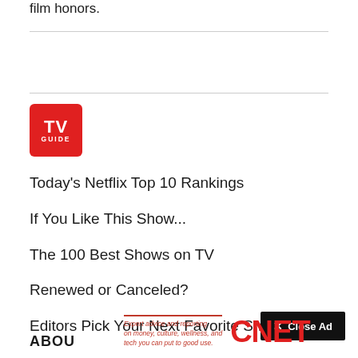film honors.
[Figure (logo): TV Guide logo — red rounded square with TV in large white bold text and GUIDE in small white caps below]
Today's Netflix Top 10 Rankings
If You Like This Show...
The 100 Best Shows on TV
Renewed or Canceled?
Editors Pick Your Next Favorite Show
✕ Close Ad
ABOU
[Figure (logo): CNET logo in large red bold text with tagline: Expert advice and reporting on money, culture, wellness, and tech you can put to good use.]